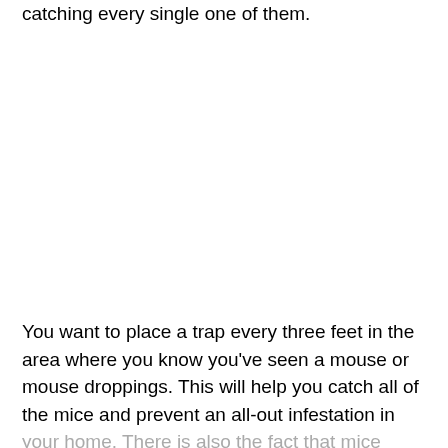catching every single one of them.
You want to place a trap every three feet in the area where you know you've seen a mouse or mouse droppings. This will help you catch all of the mice and prevent an all-out infestation in your home. There is also the fact that mice reproduce very quickly, often times making seven new babies every three